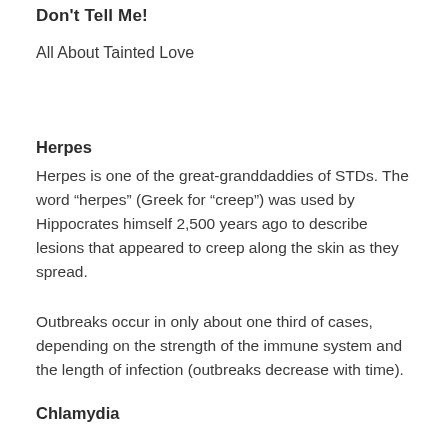Don't Tell Me!
All About Tainted Love
Herpes
Herpes is one of the great-granddaddies of STDs. The word “herpes” (Greek for “creep”) was used by Hippocrates himself 2,500 years ago to describe lesions that appeared to creep along the skin as they spread.
Outbreaks occur in only about one third of cases, depending on the strength of the immune system and the length of infection (outbreaks decrease with time).
Chlamydia